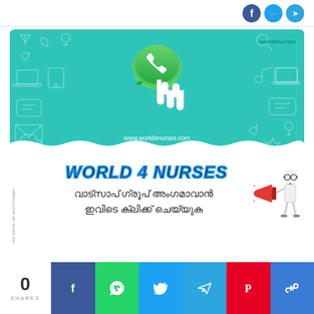[Figure (infographic): Social media share icons (Facebook, Twitter, Telegram) in top right corner]
[Figure (infographic): WhatsApp group promotional banner with teal background, WhatsApp logo with hand pointer, URL www.world4nurses.com, brand text world4nurses, decorative icons pattern]
WORLD 4 NURSES
വാട്‌സാപ്‌ ഗ്രൂപ്‌ അംഗമാവാൻ ഇവിടെ ക്ലിക്ക്‌ ചെയ്യുക
[Figure (illustration): Cartoon figure with megaphone/loudspeaker announcing]
0 SHARES
[Figure (infographic): Social share buttons bar: Facebook, WhatsApp, Twitter, Telegram, Pinterest, Copy link]